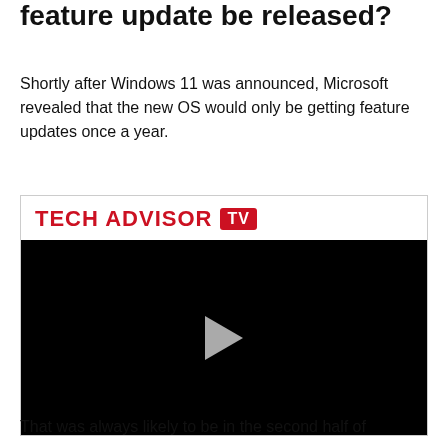feature update be released?
Shortly after Windows 11 was announced, Microsoft revealed that the new OS would only be getting feature updates once a year.
[Figure (screenshot): Tech Advisor TV video player showing a black screen with a play button in the center. The header shows the Tech Advisor TV logo in red.]
That was always likely to be in the second half of